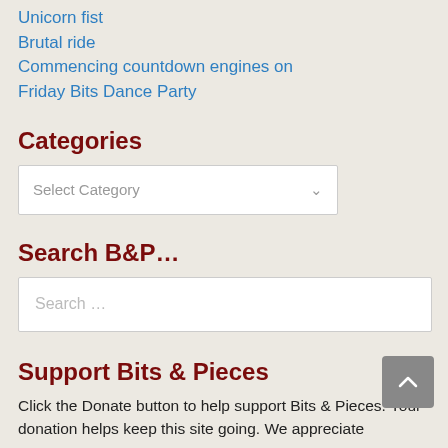Unicorn fist
Brutal ride
Commencing countdown engines on
Friday Bits Dance Party
Categories
Select Category
Search B&P...
Search ...
Support Bits & Pieces
Click the Donate button to help support Bits & Pieces. Your donation helps keep this site going. We appreciate